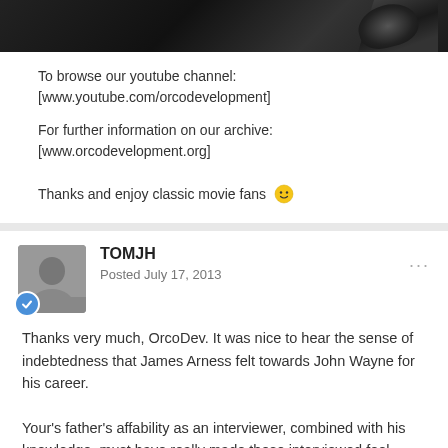[Figure (photo): Dark background photo, appears to show a person or object in black and white tones]
To browse our youtube channel: [www.youtube.com/orcodevelopment]
For further information on our archive: [www.orcodevelopment.org]
Thanks and enjoy classic movie fans 🙂
TOMJH
Posted July 17, 2013
Thanks very much, OrcoDev. It was nice to hear the sense of indebtedness that James Arness felt towards John Wayne for his career.
Your's father's affability as an interviewer, combined with his knowledge, must have really made those interviewed feel comfortable with him.